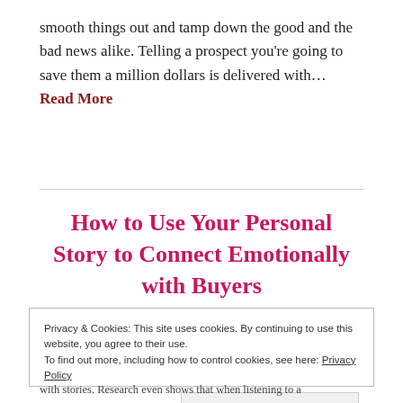smooth things out and tamp down the good and the bad news alike. Telling a prospect you're going to save them a million dollars is delivered with… Read More
How to Use Your Personal Story to Connect Emotionally with Buyers
Privacy & Cookies: This site uses cookies. By continuing to use this website, you agree to their use. To find out more, including how to control cookies, see here: Privacy Policy Close and accept
with stories. Research even shows that when listening to a